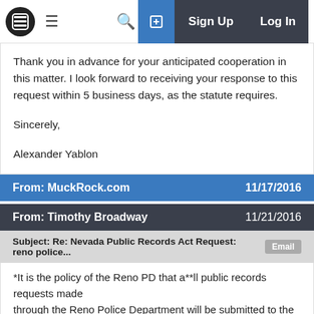MuckRock.com navigation bar with Sign Up and Log In
Thank you in advance for your anticipated cooperation in this matter. I look forward to receiving your response to this request within 5 business days, as the statute requires.
Sincerely,
Alexander Yablon
From: MuckRock.com    11/17/2016
From: Timothy Broadway    11/21/2016
Subject: Re: Nevada Public Records Act Request: reno police...    Email
*It is the policy of the Reno PD that a**ll public records requests made through the Reno Police Department will be submitted to the RECORDS DIVISION following the list below, please.*